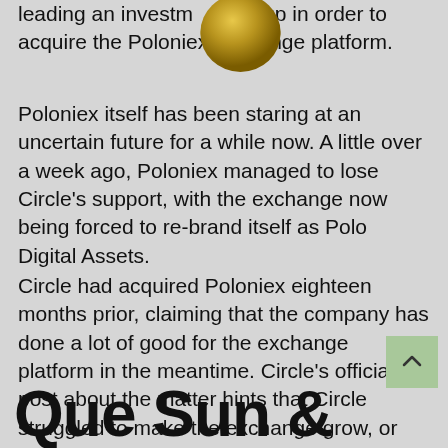[Figure (illustration): Gold coin partially visible at top center of page]
leading an investment group in order to acquire the Poloniex exchange platform.
Poloniex itself has been staring at an uncertain future for a while now. A little over a week ago, Poloniex managed to lose Circle's support, with the exchange now being forced to re-brand itself as Polo Digital Assets.
Circle had acquired Poloniex eighteen months prior, claiming that the company has done a lot of good for the exchange platform in the meantime. Circle's official post about the matter hints that Circle struggled to make the exchange grow, or possibly turn a profit.
Que Sun &